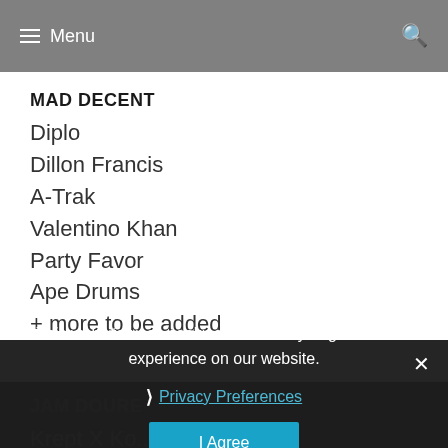Menu
MAD DECENT
Diplo
Dillon Francis
A-Trak
Valentino Khan
Party Favor
Ape Drums
+ more to be added
JAM DOURE
Krept X Ko...
Mistajam
Ramz
Holy Goof
Darkzy
This website uses cookies to ensure you get the best experience on our website.
Privacy Preferences
I Agree